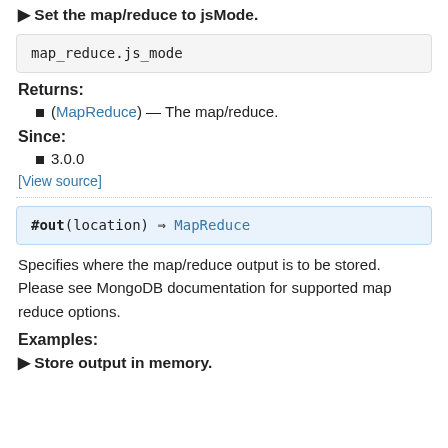▶ Set the map/reduce to jsMode.
map_reduce.js_mode
Returns:
(MapReduce) — The map/reduce.
Since:
3.0.0
[View source]
#out(location) ⇒ MapReduce
Specifies where the map/reduce output is to be stored. Please see MongoDB documentation for supported map reduce options.
Examples:
▶ Store output in memory.